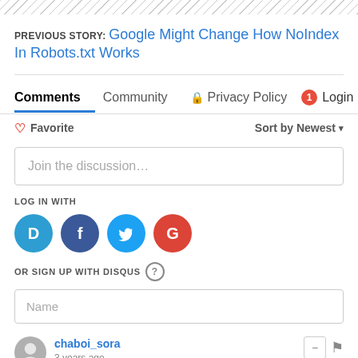PREVIOUS STORY: Google Might Change How NoIndex In Robots.txt Works
Comments  Community  Privacy Policy  Login
Favorite  Sort by Newest
Join the discussion…
LOG IN WITH
[Figure (logo): Social login icons: Disqus (D), Facebook (f), Twitter bird, Google (G)]
OR SIGN UP WITH DISQUS ?
Name
chaboi_sora
3 years ago
I would love to see them improve the URL parameters tool